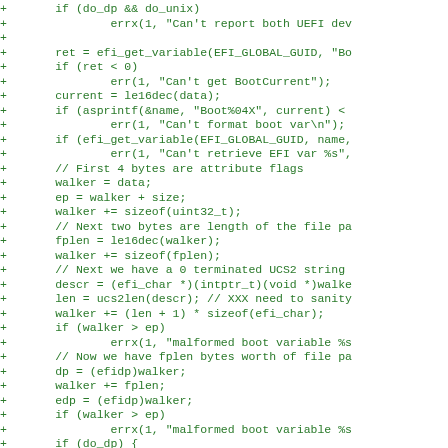[Figure (other): Source code diff showing C code additions (lines prefixed with '+') in green monospace font, implementing EFI/UEFI boot variable parsing logic including efi_get_variable calls, BootCurrent retrieval, file path parsing, UCS2 string handling, and walker pointer arithmetic.]